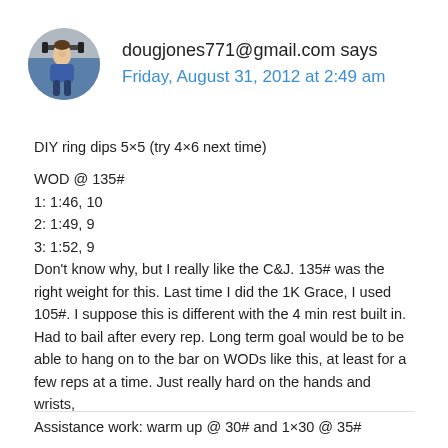[Figure (photo): Circular avatar photo of a man lifting weights in a gym, wearing a blue shirt]
dougjones771@gmail.com says
Friday, August 31, 2012 at 2:49 am
DIY ring dips 5×5 (try 4×6 next time)
WOD @ 135#
1: 1:46, 10
2: 1:49, 9
3: 1:52, 9
Don't know why, but I really like the C&J. 135# was the right weight for this. Last time I did the 1K Grace, I used 105#. I suppose this is different with the 4 min rest built in. Had to bail after every rep. Long term goal would be to be able to hang on to the bar on WODs like this, at least for a few reps at a time. Just really hard on the hands and wrists,
Assistance work: warm up @ 30# and 1×30 @ 35#